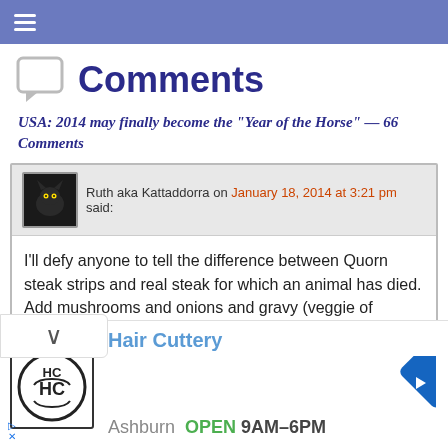≡
Comments
USA: 2014 may finally become the "Year of the Horse" — 66 Comments
Ruth aka Kattaddorra on January 18, 2014 at 3:21 pm said:
I'll defy anyone to tell the difference between Quorn steak strips and real steak for which an animal has died. Add mushrooms and onions and gravy (veggie of course) and you have a delicious casserole and an easy conscience.
[Figure (photo): A plate with green peas and orange vegetables (possibly peppers or carrots), partially visible on a light background with a green surface behind.]
Hair Cuttery
Ashburn OPEN 9AM–6PM